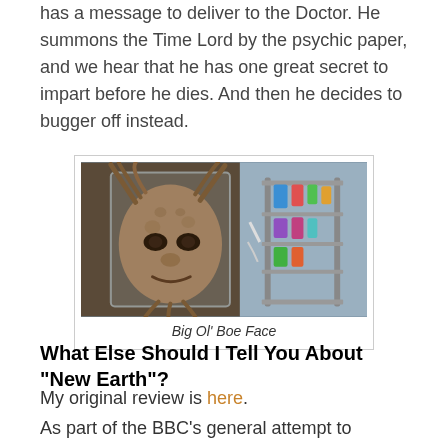has a message to deliver to the Doctor. He summons the Time Lord by the psychic paper, and we hear that he has one great secret to impart before he dies. And then he decides to bugger off instead.
[Figure (photo): A large alien face (the Face of Boe) in a glass tank on the left, and a metal rack with colorful equipment on the right.]
Big Ol' Boe Face
What Else Should I Tell You About "New Earth"?
My original review is here.
As part of the BBC's general attempt to broaden itself into new-fangled multi-media presentation, the 2006 series of